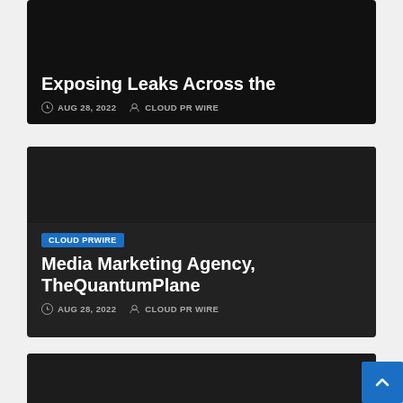Exposing Leaks Across the
AUG 28, 2022  CLOUD PR WIRE
CLOUD PRWIRE
Media Marketing Agency, TheQuantumPlane
AUG 28, 2022  CLOUD PR WIRE
CLOUD PRWIRE
ACLS, BLS, PALS Certification Courses For Continuous